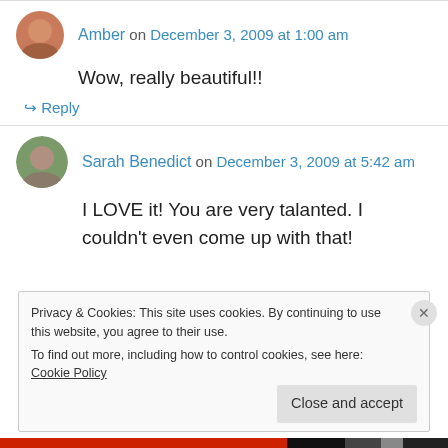Amber on December 3, 2009 at 1:00 am
Wow, really beautiful!!
↳ Reply
Sarah Benedict on December 3, 2009 at 5:42 am
I LOVE it! You are very talanted. I couldn't even come up with that!
Privacy & Cookies: This site uses cookies. By continuing to use this website, you agree to their use.
To find out more, including how to control cookies, see here: Cookie Policy
Close and accept